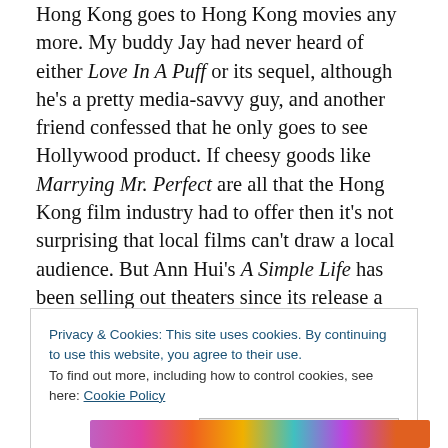Hong Kong goes to Hong Kong movies any more. My buddy Jay had never heard of either Love In A Puff or its sequel, although he's a pretty media-savvy guy, and another friend confessed that he only goes to see Hollywood product. If cheesy goods like Marrying Mr. Perfect are all that the Hong Kong film industry had to offer then it's not surprising that local films can't draw a local audience. But Ann Hui's A Simple Life has been selling out theaters since its release a few weeks ago, and Love In The Buff is also making some bank, so maybe it's just a case of Hong Kong moviegoers no longer tolerating
Privacy & Cookies: This site uses cookies. By continuing to use this website, you agree to their use.
To find out more, including how to control cookies, see here: Cookie Policy
[Figure (photo): Colorful photo strip at bottom of page, partially visible]